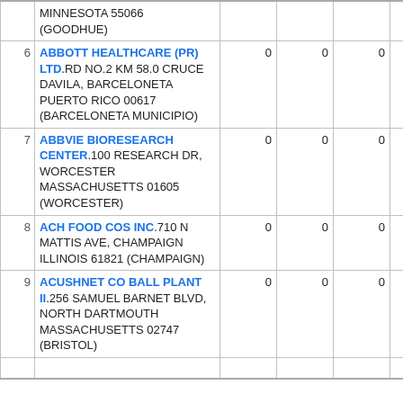| # | Facility | Col1 | Col2 | Col3 | Col4 |
| --- | --- | --- | --- | --- | --- |
|  | MINNESOTA 55066 (GOODHUE) |  |  |  |  |
| 6 | ABBOTT HEALTHCARE (PR) LTD. RD NO.2 KM 58.0 CRUCE DAVILA, BARCELONETA PUERTO RICO 00617 (BARCELONETA MUNICIPIO) | 0 | 0 | 0 | 0 |
| 7 | ABBVIE BIORESEARCH CENTER. 100 RESEARCH DR, WORCESTER MASSACHUSETTS 01605 (WORCESTER) | 0 | 0 | 0 | 0 |
| 8 | ACH FOOD COS INC. 710 N MATTIS AVE, CHAMPAIGN ILLINOIS 61821 (CHAMPAIGN) | 0 | 0 | 0 | 0 |
| 9 | ACUSHNET CO BALL PLANT II. 256 SAMUEL BARNET BLVD, NORTH DARTMOUTH MASSACHUSETTS 02747 (BRISTOL) | 0 | 0 | 0 | 0 |